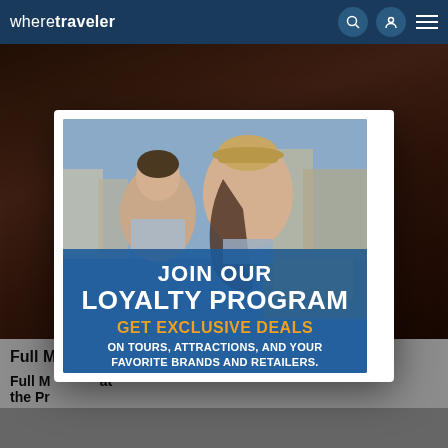wheretraveler
[Figure (screenshot): Website screenshot of WhereTraveler showing a loyalty program popup advertisement over a travel article. The popup features a couple smiling in a city setting with text 'JOIN OUR LOYALTY PROGRAM GET EXCLUSIVE DEALS ON TOURS, ATTRACTIONS, AND YOUR FAVORITE BRANDS AND RETAILERS.' Below the popup is a partial article title 'Full M... at the Pr...' with a sponsored dental implants ad and a Search Now button.]
Full M... at the Pr...
Dental Implants | Search Ads | Sponsored
Search Now